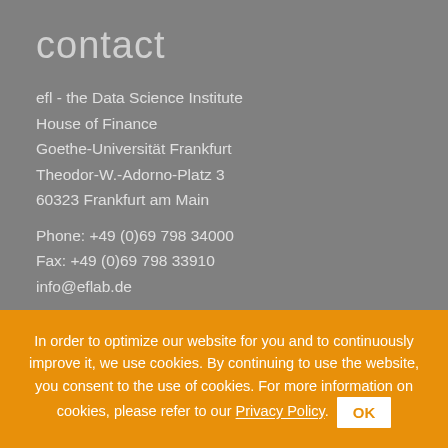contact
efl - the Data Science Institute
House of Finance
Goethe-Universität Frankfurt
Theodor-W.-Adorno-Platz 3
60323 Frankfurt am Main

Phone: +49 (0)69 798 34000
Fax: +49 (0)69 798 33910
info@eflab.de
In order to optimize our website for you and to continuously improve it, we use cookies. By continuing to use the website, you consent to the use of cookies. For more information on cookies, please refer to our Privacy Policy. OK